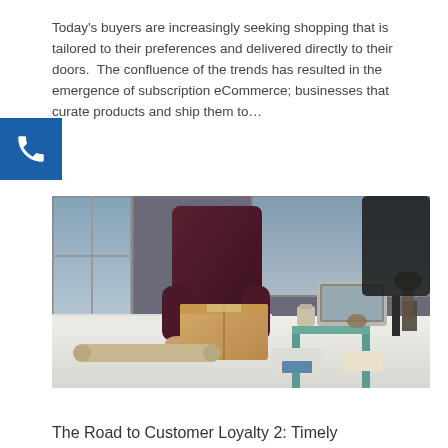Today's buyers are increasingly seeking shopping that is tailored to their preferences and delivered directly to their doors.  The confluence of the trends has resulted in the emergence of subscription eCommerce; businesses that curate products and ship them to…
[Figure (photo): A person in a dark maroon long-sleeve shirt leaning over a white table, handling a brown cardboard box. The room has large windows, chairs, and a desk with a laptop and other items in the background.]
The Road to Customer Loyalty 2: Timely